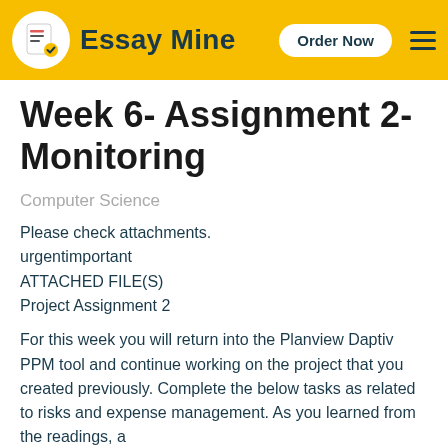Essay Mine   Order Now
Week 6- Assignment 2- Monitoring
Computer Science
Please check attachments.
urgentimportant
ATTACHED FILE(S)
Project Assignment 2
For this week you will return into the Planview Daptiv PPM tool and continue working on the project that you created previously. Complete the below tasks as related to risks and expense management. As you learned from the readings, a